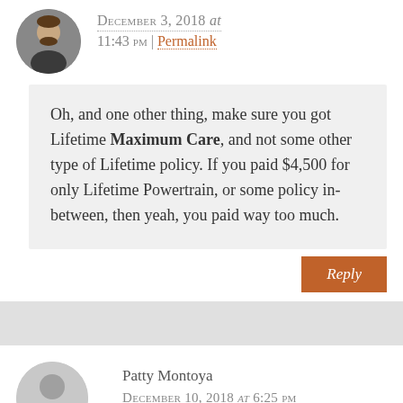December 3, 2018 at 11:43 pm | Permalink
Oh, and one other thing, make sure you got Lifetime Maximum Care, and not some other type of Lifetime policy. If you paid $4,500 for only Lifetime Powertrain, or some policy in-between, then yeah, you paid way too much.
Reply
Patty Montoya
December 10, 2018 at 6:25 pm